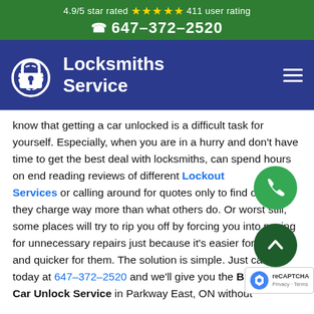4.9/5 star rated ★★★★★ 411 user rating
☎ 647-372-2520
[Figure (logo): Locksmiths Service logo with padlock icon on dark blue navigation bar]
know that getting a car unlocked is a difficult task for yourself. Especially, when you are in a hurry and don't have time to get the best deal with locksmiths, can spend hours on end reading reviews of different Lockout Services or calling around for quotes only to find out that they charge way more than what others do. Or worst still, some places will try to rip you off by forcing you into paying for unnecessary repairs just because it's easier for them and quicker for them. The solution is simple. Just call us today at 647-372-2520 and we'll give you the Best Cheap Car Unlock Service in Parkway East, ON without